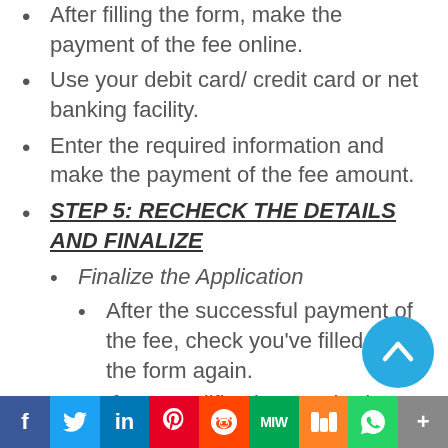After filling the form, make the payment of the fee online.
Use your debit card/ credit card or net banking facility.
Enter the required information and make the payment of the fee amount.
STEP 5: RECHECK THE DETAILS AND FINALIZE
Finalize the Application
After the successful payment of the fee, check you've filled in the form again.
If any modification required
f  Twitter  in  Pinterest  Reddit  MW  Mix  WhatsApp  More